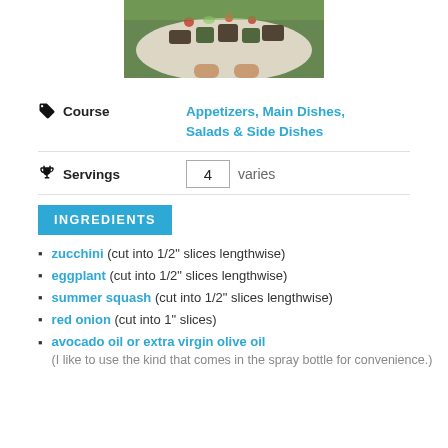[Figure (photo): Photo of grilled vegetables on a white plate being held up outdoors]
Course   Appetizers, Main Dishes, Salads & Side Dishes
Servings   4   varies
INGREDIENTS
zucchini (cut into 1/2" slices lengthwise)
eggplant (cut into 1/2" slices lengthwise)
summer squash (cut into 1/2" slices lengthwise)
red onion (cut into 1" slices)
avocado oil or extra virgin olive oil (I like to use the kind that comes in the spray bottle for convenience.)
salt and pepper